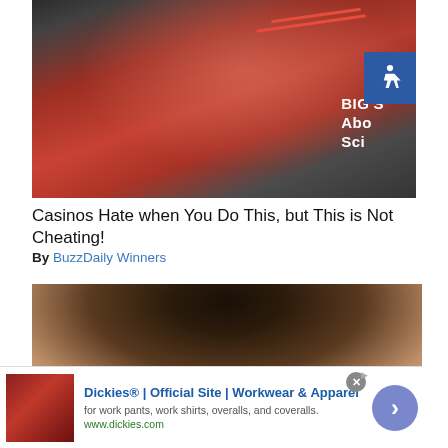[Figure (photo): Man in red t-shirt sitting at a slot machine, laughing, holding a ticket. The back of his shirt reads 'BIG's Abo... Sci...'. A blue accessibility icon badge is visible in the top right corner of the image.]
Casinos Hate when You Do This, but This is Not Cheating!
By BuzzDaily Winners
[Figure (photo): Close-up photo of a young woman with long dark hair, cropped at forehead level, partially obscured by the ad bar below.]
Dickies® | Official Site | Workwear & Apparel
for work pants, work shirts, overalls, and coveralls.
www.dickies.com